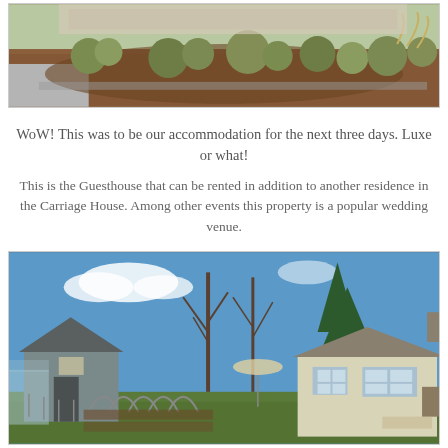[Figure (photo): Aerial or close-up view of a landscaped garden area with mulched beds, ornamental grasses, and shrubs near a driveway]
WoW! This was to be our accommodation for the next three days. Luxe or what!
This is the Guesthouse that can be rented in addition to another residence in the Carriage House. Among other events this property is a popular wedding venue.
[Figure (photo): Exterior view of a property with a barn-style building, a small guesthouse cottage, garden beds with arched trellis structures, bare winter trees, and blue sky]